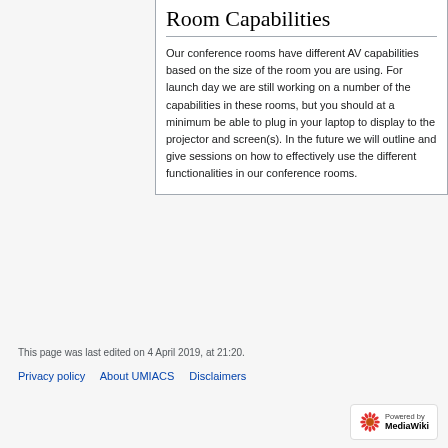Room Capabilities
Our conference rooms have different AV capabilities based on the size of the room you are using. For launch day we are still working on a number of the capabilities in these rooms, but you should at a minimum be able to plug in your laptop to display to the projector and screen(s). In the future we will outline and give sessions on how to effectively use the different functionalities in our conference rooms.
This page was last edited on 4 April 2019, at 21:20.
Privacy policy   About UMIACS   Disclaimers